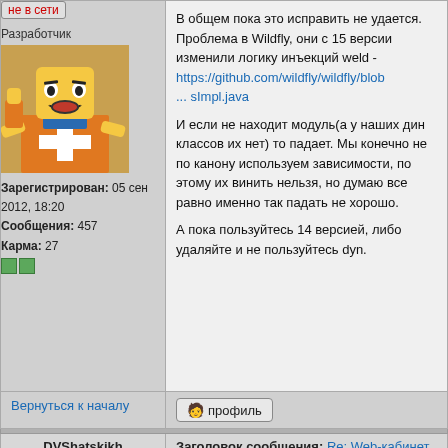не в сети
Разработчик
[Figure (photo): Avatar image of a LEGO character in orange vest]
Зарегистрирован: 05 сен 2012, 18:20
Сообщения: 457
Карма: 27
В общем пока это исправить не удается. Проблема в Wildfly, они с 15 версии изменили логику инъекций weld - https://github.com/wildfly/wildfly/blob ... sImpl.java
И если не находит модуль(а у наших дин классов их нет) то падает. Мы конечно не по канону используем зависимости, по этому их винить нельзя, но думаю все равно именно так падать не хорошо.
А пока пользуйтесь 14 версией, либо удаляйте и не пользуйтесь dyn.
Вернуться к началу
профиль
DVShatskikh
Заголовок сообщения: Re: Web-кабинет клиента
не в сети
Зарегистрирован: 29 май
Вчера перестал работать ЛК.
Сыпет в лог:
2020.03.27 16:43:14.942 INFO [org.apache...